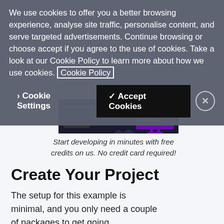We use cookies to offer you a better browsing experience, analyse site traffic, personalise content, and serve targeted advertisements. Continue browsing or choose accept if you agree to the use of cookies. Take a look at our Cookie Policy to learn more about how we use cookies. Cookie Policy
> Cookie Settings  ✓ Accept Cookies  X
[Figure (screenshot): Screenshot of a dark-themed developer platform signup page with code editor graphic and text 'Start developing with free credits on us. No credit card required!']
Start developing in minutes with free credits on us. No credit card required!
Create Your Project
The setup for this example is minimal, and you only need a couple of packages to get going.
@google-cloud/translate - this is the official Cloud Translation SDK